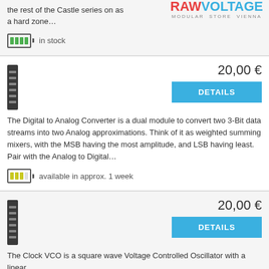the rest of the Castle series on as a hard zone…
[Figure (logo): RAW VOLTAGE MODULAR STORE VIENNA logo]
in stock
20,00 €
DETAILS
The Digital to Analog Converter is a dual module to convert two 3-Bit data streams into two Analog approximations. Think of it as weighted summing mixers, with the MSB having the most amplitude, and LSB having least. Pair with the Analog to Digital…
available in approx. 1 week
20,00 €
DETAILS
The Clock VCO is a square wave Voltage Controlled Oscillator with a linear